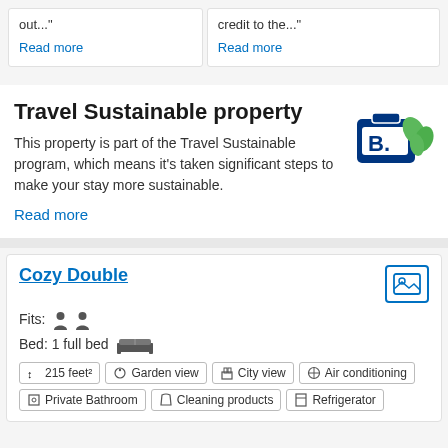out..."
Read more
credit to the..."
Read more
Travel Sustainable property
This property is part of the Travel Sustainable program, which means it's taken significant steps to make your stay more sustainable.
[Figure (logo): Booking.com Travel Sustainable badge with blue briefcase and green leaves]
Read more
Cozy Double
[Figure (illustration): Photo gallery icon - image symbol in blue square border]
Fits: [person icons x2]
Bed: 1 full bed [bed icon]
215 feet²
Garden view
City view
Air conditioning
Private Bathroom
Cleaning products
Refrigerator